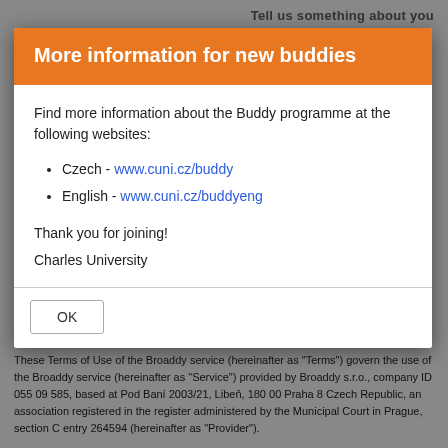Tell us something about you
More information for new buddies
Find more information about the Buddy programme at the following websites:
Czech - www.cuni.cz/buddy
English - www.cuni.cz/buddyeng
Thank you for joining!
Charles University
OK
These Terms of Use of the Broaddy service (hereinafter as "Terms") govern the use of the Broaddy service (hereinafter as "Service") provided by Broaddy s.r.o., company ID 055 09 585, based at Pod Baní 2003/21, Libeň, 180 00 Praha 8 Czech Republic, an association registered in the register administered by the Municipal Court in Prague, section C entry 264594 (hereinafter as "Provider").
The service is available only to persons registered with the Service (hereinafter as "Authorized Users"), through which they can connect and communicate with each other and do other activities. The purpose of providing the Service is to enable the